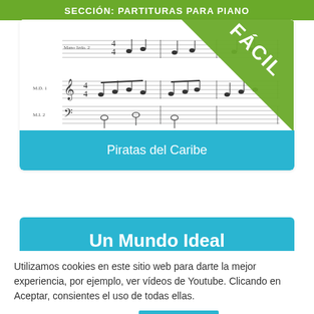SECCIÓN: PARTITURAS PARA PIANO
[Figure (illustration): Sheet music excerpt showing piano score with treble and bass clef staves, with a green diagonal 'FÁCIL' (Easy) badge overlay in the top-right corner]
Piratas del Caribe
Un Mundo Ideal
Utilizamos cookies en este sitio web para darte la mejor experiencia, por ejemplo, ver vídeos de Youtube. Clicando en Aceptar, consientes el uso de todas ellas.
Configuración de Cookies   ACEPTAR